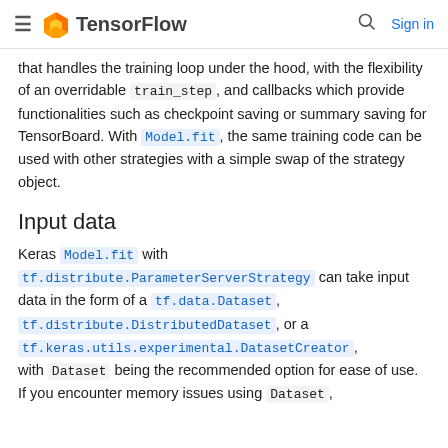TensorFlow
that handles the training loop under the hood, with the flexibility of an overridable train_step, and callbacks which provide functionalities such as checkpoint saving or summary saving for TensorBoard. With Model.fit, the same training code can be used with other strategies with a simple swap of the strategy object.
Input data
Keras Model.fit with tf.distribute.ParameterServerStrategy can take input data in the form of a tf.data.Dataset, tf.distribute.DistributedDataset, or a tf.keras.utils.experimental.DatasetCreator, with Dataset being the recommended option for ease of use. If you encounter memory issues using Dataset,